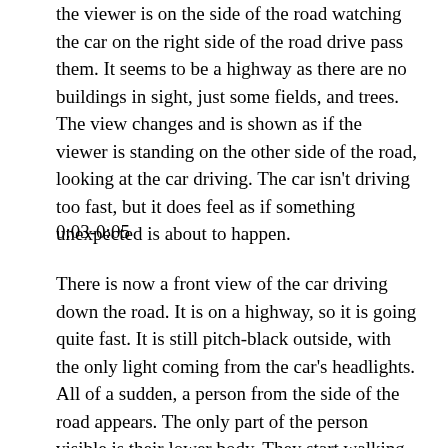the viewer is on the side of the road watching the car on the right side of the road drive pass them. It seems to be a highway as there are no buildings in sight, just some fields, and trees. The view changes and is shown as if the viewer is standing on the other side of the road, looking at the car driving. The car isn't driving too fast, but it does feel as if something unexpected is about to happen.
0:03-0:05
There is now a front view of the car driving down the road. It is on a highway, so it is going quite fast. It is still pitch-black outside, with the only light coming from the car's headlights. All of a sudden, a person from the side of the road appears. The only part of the person visible is their lower body. They start walking onto the road. The gives the viewers some anxiety as the person is probably going to get hit by the...